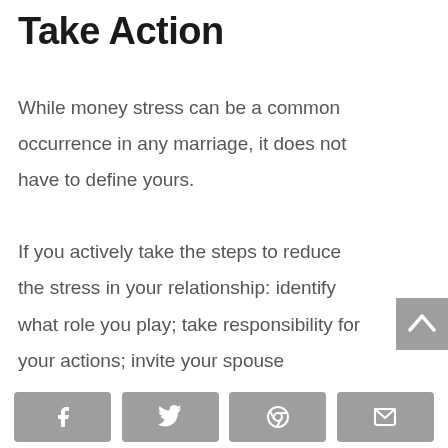Take Action
While money stress can be a common occurrence in any marriage, it does not have to define yours.

If you actively take the steps to reduce the stress in your relationship: identify what role you play; take responsibility for your actions; invite your spouse
[Figure (other): Back-to-top scroll button with upward chevron arrow, grey background]